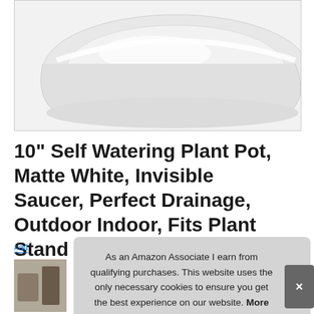[Figure (photo): White matte self-watering plant pot with smooth curved edges, photographed against a white/light grey background, showing the top portion of the pot.]
10" Self Watering Plant Pot, Matte White, Invisible Saucer, Perfect Drainage, Outdoor Indoor, Fits Plant Stand
#ad
As an Amazon Associate I earn from qualifying purchases. This website uses the only necessary cookies to ensure you get the best experience on our website. More information